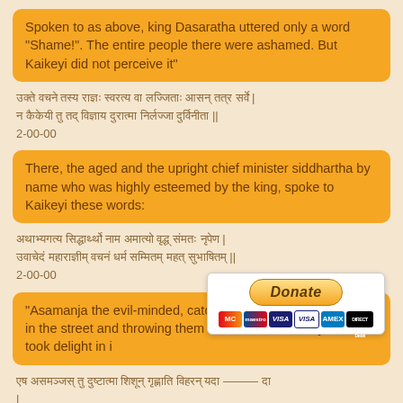Spoken to as above, king Dasaratha uttered only a word "Shame!". The entire people there were ashamed. But Kaikeyi did not perceive it"
[Sanskrit verse lines] 2-00-00
There, the aged and the upright chief minister siddhartha by name who was highly esteemed by the king, spoke to Kaikeyi these words:
[Sanskrit verse lines] 2-00-00
"Asamanja the evil-minded, catching hold of children playing in the street and throwing them in the waters of saryu river, took delight in [truncated]
[Sanskrit verse lines, partially obscured] |
[Figure (other): Donate button with payment card icons (Mastercard, Maestro, VISA, VISA, Amex, Direct Debit)]